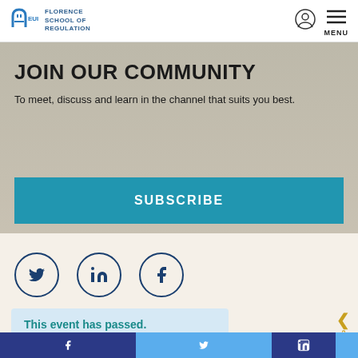EUI Florence School of Regulation
JOIN OUR COMMUNITY
To meet, discuss and learn in the channel that suits you best.
SUBSCRIBE
[Figure (illustration): Three social media circular icon buttons: Twitter (bird icon), LinkedIn (in icon), Facebook (f icon), all with dark blue outlines on light background]
This event has passed.
Facebook, Twitter, LinkedIn social links footer bar